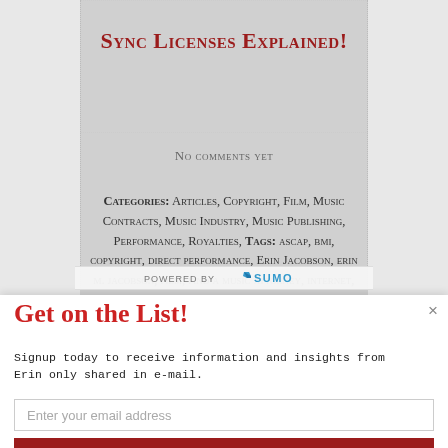Sync Licenses Explained!
No comments yet
Categories: Articles, Copyright, Film, Music Contracts, Music Industry, Music Publishing, Performance, Royalties, Tags: ascap, bmi, copyright, direct performance, Erin Jacobson, erin m. jacobson, film, find a music attorney, internet, lawyer, los angeles, music, music attorney, music attorney la, music attorney los angeles, music business, music industry, music industry lawyer, music law, music
[Figure (screenshot): Powered by Sumo watermark bar]
Get on the List!
Signup today to receive information and insights from Erin only shared in e-mail.
Enter your email address
Put me on the list!